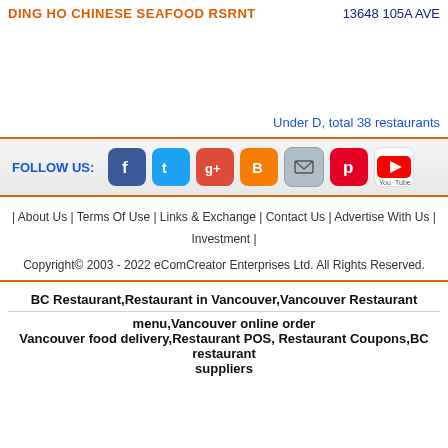DING HO CHINESE SEAFOOD RSRNT | 13648 105A AVE
Under D, total 38 restaurants
[Figure (infographic): FOLLOW US social media icons bar: Facebook, Twitter, Google+, Blogger, Email, Pinterest, YouTube]
| About Us | Terms Of Use | Links & Exchange | Contact Us | Advertise With Us | Investment |
Copyright© 2003 - 2022 eComCreator Enterprises Ltd. All Rights Reserved.
BC Restaurant,Restaurant in Vancouver,Vancouver Restaurant menu,Vancouver online order
Vancouver food delivery,Restaurant POS, Restaurant Coupons,BC restaurant suppliers